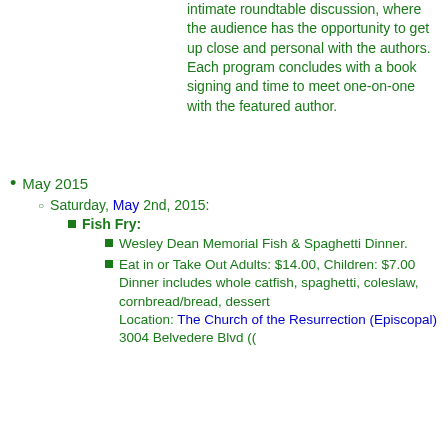intimate roundtable discussion, where the audience has the opportunity to get up close and personal with the authors. Each program concludes with a book signing and time to meet one-on-one with the featured author.
May 2015
Saturday, May 2nd, 2015:
Fish Fry:
Wesley Dean Memorial Fish & Spaghetti Dinner.
Eat in or Take Out Adults: $14.00, Children: $7.00 Dinner includes whole catfish, spaghetti, coleslaw, cornbread/bread, dessert Location: The Church of the Resurrection (Episcopal) 3004 Belvedere Blvd ((